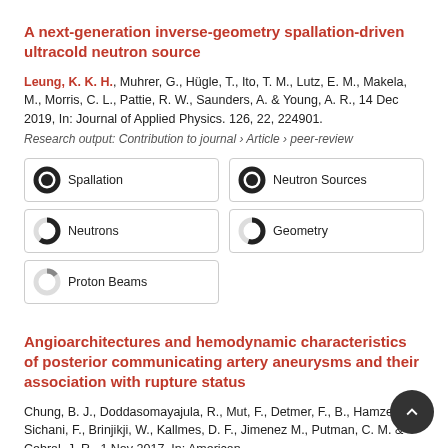A next-generation inverse-geometry spallation-driven ultracold neutron source
Leung, K. K. H., Muhrer, G., Hügle, T., Ito, T. M., Lutz, E. M., Makela, M., Morris, C. L., Pattie, R. W., Saunders, A. & Young, A. R., 14 Dec 2019, In: Journal of Applied Physics. 126, 22, 224901.
Research output: Contribution to journal › Article › peer-review
Spallation
Neutron Sources
Neutrons
Geometry
Proton Beams
Angioarchitectures and hemodynamic characteristics of posterior communicating artery aneurysms and their association with rupture status
Chung, B. J., Doddasomayajula, R., Mut, F., Detmer, F., B., Hamzei-Sichani, F., Brinjikji, W., Kallmes, D. F., Jimenez M., Putman, C. M. & Cebral, J. R., 1 Nov 2017, In: American